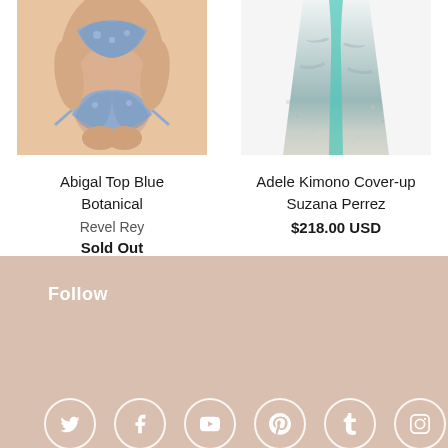[Figure (photo): Woman wearing blue botanical bikini top - Abigal Top Blue Botanical by Revel Rey]
[Figure (photo): Adele Kimono Cover-up by Suzana Perrez, white/teal/grey ombre print]
Abigal Top Blue Botanical
Revel Rey
Sold Out
Adele Kimono Cover-up Suzana Perrez
$218.00 USD
Follow
[Figure (illustration): Social media icons in white circles: Twitter, Facebook, YouTube, Pinterest, Tumblr, Instagram, Email/Telegram]